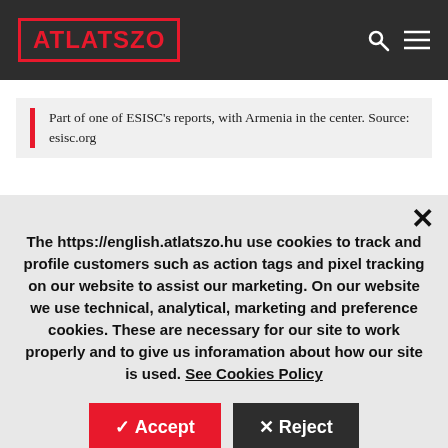ATLATSZO
Part of one of ESISC's reports, with Armenia in the center. Source: esisc.org
The https://english.atlatszo.hu use cookies to track and profile customers such as action tags and pixel tracking on our website to assist our marketing. On our website we use technical, analytical, marketing and preference cookies. These are necessary for our site to work properly and to give us inforamation about how our site is used. See Cookies Policy
✓ Accept   × Reject